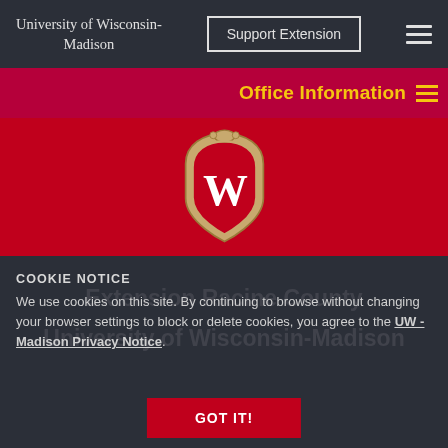University of Wisconsin-Madison
Office Information
[Figure (logo): University of Wisconsin-Madison W crest/badge logo on red background]
COOKIE NOTICE
We use cookies on this site. By continuing to browse without changing your browser settings to block or delete cookies, you agree to the UW - Madison Privacy Notice.
GOT IT!